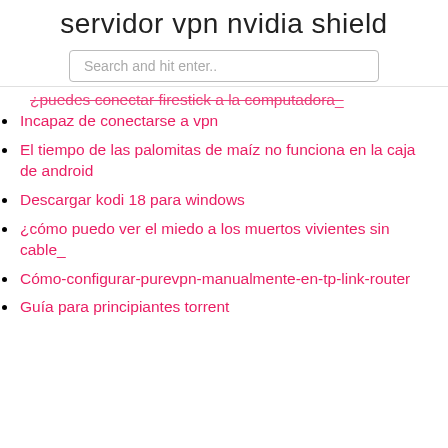servidor vpn nvidia shield
Search and hit enter..
¿puedes conectar firestick a la computadora_
Incapaz de conectarse a vpn
El tiempo de las palomitas de maíz no funciona en la caja de android
Descargar kodi 18 para windows
¿cómo puedo ver el miedo a los muertos vivientes sin cable_
Cómo-configurar-purevpn-manualmente-en-tp-link-router
Guía para principiantes torrent